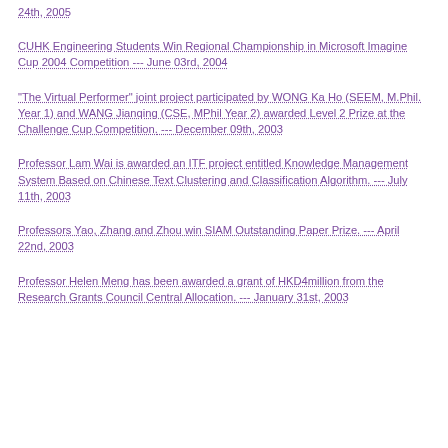24th, 2005
CUHK Engineering Students Win Regional Championship in Microsoft Imagine Cup 2004 Competition --- June 03rd, 2004
“The Virtual Performer” joint project participated by WONG Ka Ho (SEEM, M.Phil. Year 1) and WANG Jianqing (CSE, MPhil Year 2) awarded Level 2 Prize at the Challenge Cup Competition. --- December 09th, 2003
Professor Lam Wai is awarded an ITF project entitled Knowledge Management System Based on Chinese Text Clustering and Classification Algorithm. --- July 11th, 2003
Professors Yao, Zhang and Zhou win SIAM Outstanding Paper Prize. --- April 22nd, 2003
Professor Helen Meng has been awarded a grant of HKD4million from the Research Grants Council Central Allocation. --- January 31st, 2003